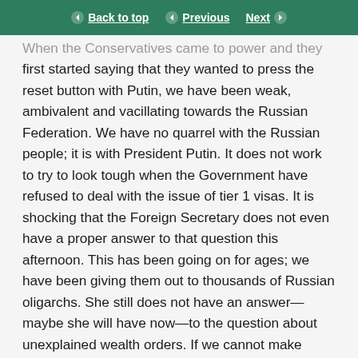Back to top | Previous | Next
When the Conservatives came to power and they first started saying that they wanted to press the reset button with Putin, we have been weak, ambivalent and vacillating towards the Russian Federation. We have no quarrel with the Russian people; it is with President Putin. It does not work to try to look tough when the Government have refused to deal with the issue of tier 1 visas. It is shocking that the Foreign Secretary does not even have a proper answer to that question this afternoon. This has been going on for ages; we have been giving them out to thousands of Russian oligarchs. She still does not have an answer—maybe she will have now—to the question about unexplained wealth orders. If we cannot make them, how will this new legislation make any